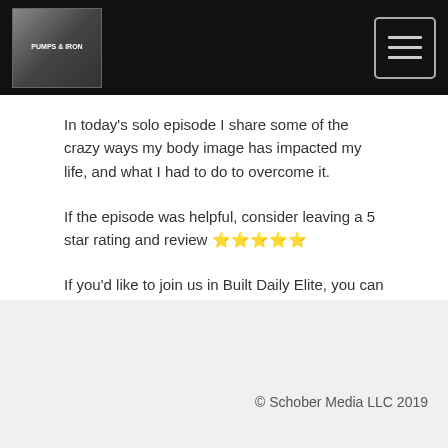[Figure (logo): Podcast logo with two people and text at top left of black header bar]
In today's solo episode I share some of the crazy ways my body image has impacted my life, and what I had to do to overcome it.
If the episode was helpful, consider leaving a 5 star rating and review ⭐⭐⭐⭐⭐
If you'd like to join us in Built Daily Elite, you can do so here - https://builtdaily.com/elite/
© Schober Media LLC 2019